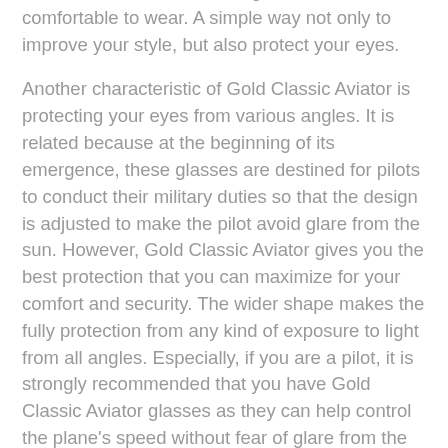two lenses which make this glass becomes more comfortable to wear. A simple way not only to improve your style, but also protect your eyes.
Another characteristic of Gold Classic Aviator is protecting your eyes from various angles. It is related because at the beginning of its emergence, these glasses are destined for pilots to conduct their military duties so that the design is adjusted to make the pilot avoid glare from the sun. However, Gold Classic Aviator gives you the best protection that you can maximize for your comfort and security. The wider shape makes the fully protection from any kind of exposure to light from all angles. Especially, if you are a pilot, it is strongly recommended that you have Gold Classic Aviator glasses as they can help control the plane's speed without fear of glare from the sun. You will have a huge impact regarding to this aviator benefits. Remember, a superb sunlight protection comes only from the simple glasses.